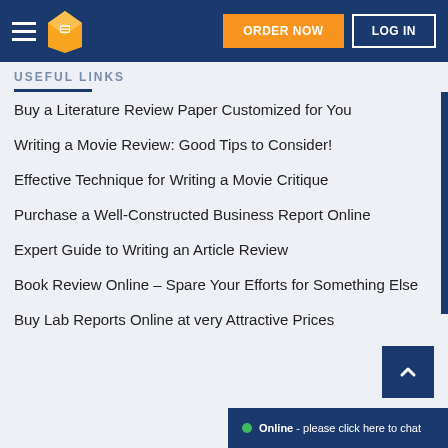ORDER NOW | LOG IN
USEFUL LINKS
Buy a Literature Review Paper Customized for You
Writing a Movie Review: Good Tips to Consider!
Effective Technique for Writing a Movie Critique
Purchase a Well-Constructed Business Report Online
Expert Guide to Writing an Article Review
Book Review Online – Spare Your Efforts for Something Else
Buy Lab Reports Online at very Attractive Prices